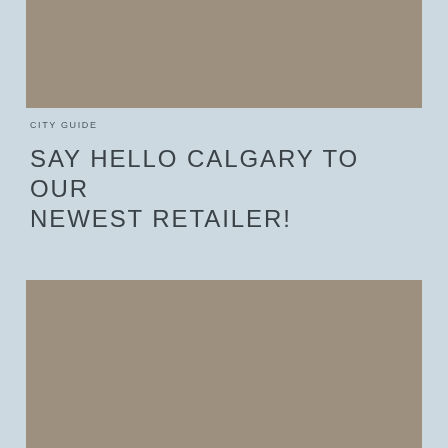[Figure (photo): Top image placeholder — taupe/brown rectangle representing a photo]
CITY GUIDE
SAY HELLO CALGARY TO OUR NEWEST RETAILER!
[Figure (photo): Bottom image placeholder — taupe/brown rectangle representing a photo]